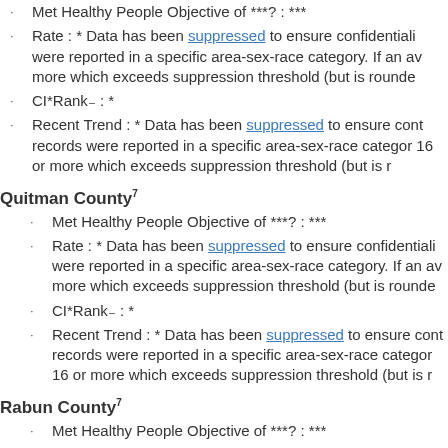Met Healthy People Objective of ***?: ***
Rate : * Data has been suppressed to ensure confidentiality were reported in a specific area-sex-race category. If an av more which exceeds suppression threshold (but is rounde
CI*Rank⋕ : *
Recent Trend : * Data has been suppressed to ensure cont records were reported in a specific area-sex-race category 16 or more which exceeds suppression threshold (but is r
Quitman County7
Met Healthy People Objective of ***?: ***
Rate : * Data has been suppressed to ensure confidentiality were reported in a specific area-sex-race category. If an av more which exceeds suppression threshold (but is rounde
CI*Rank⋕ : *
Recent Trend : * Data has been suppressed to ensure cont records were reported in a specific area-sex-race category 16 or more which exceeds suppression threshold (but is r
Rabun County7
Met Healthy People Objective of ***?: ***
Rate : * Data has been suppressed to ensure confidentiality